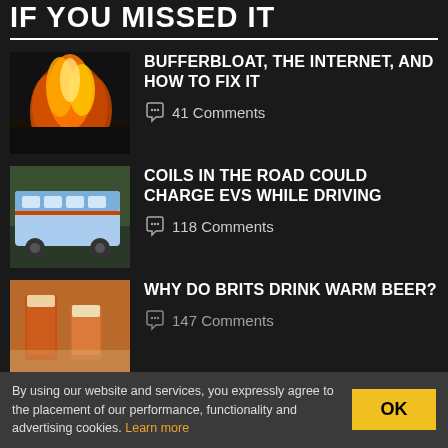IF YOU MISSED IT
[Figure (photo): Photo of fire/flames burning, dark background]
BUFFERBLOAT, THE INTERNET, AND HOW TO FIX IT
41 Comments
[Figure (photo): Photo of a city bus on a street]
COILS IN THE ROAD COULD CHARGE EVS WHILE DRIVING
118 Comments
[Figure (photo): Photo of glasses of amber beer]
WHY DO BRITS DRINK WARM BEER?
147 Comments
By using our website and services, you expressly agree to the placement of our performance, functionality and advertising cookies. Learn more